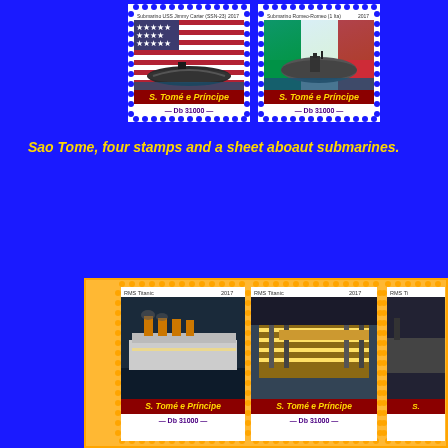[Figure (photo): Postage stamp from S. Tomé e Príncipe, 2017, depicting Submarino USS Jimmy Carter (SSN-23) with American flag background. Denomination Db 31000.]
[Figure (photo): Postage stamp from S. Tomé e Príncipe, 2017, depicting Submarino Romeo-Romeo (1 Ita) with Italian flag background. Denomination Db 31000.]
Sao Tome, four stamps and a sheet aboaut submarines.
[Figure (photo): Sheet of stamps from S. Tomé e Príncipe, 2017, depicting RMS Titanic in multiple views. Denomination Db 31000. Three stamps visible, third partially cropped.]